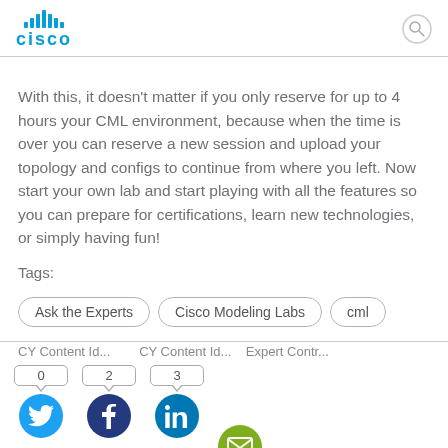[Figure (logo): Cisco logo with blue vertical bars and CISCO text in blue]
With this, it doesn't matter if you only reserve for up to 4 hours your CML environment, because when the time is over you can reserve a new session and upload your topology and configs to continue from where you left. Now start your own lab and start playing with all the features so you can prepare for certifications, learn new technologies, or simply having fun!
Tags:
Ask the Experts
Cisco Modeling Labs
cml
[Figure (infographic): Social share buttons: Twitter (0 shares), Facebook (2 shares), LinkedIn (3 shares), Email]